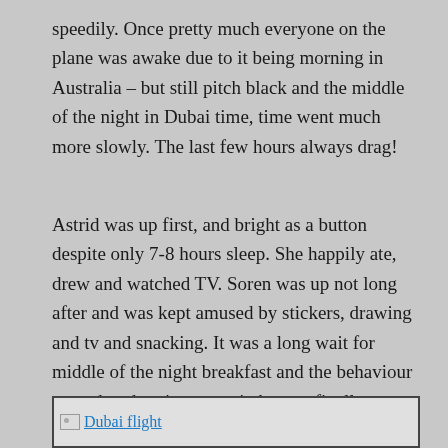speedily. Once pretty much everyone on the plane was awake due to it being morning in Australia – but still pitch black and the middle of the night in Dubai time, time went much more slowly. The last few hours always drag!
Astrid was up first, and bright as a button despite only 7-8 hours sleep. She happily ate, drew and watched TV. Soren was up not long after and was kept amused by stickers, drawing and tv and snacking. It was a long wait for middle of the night breakfast and the behaviour started to deteriorate again but we finally got close to landing when the plane was held up in a queue to land.
[Figure (other): Image placeholder labeled 'Dubai flight' with a small image icon and cyan link text]